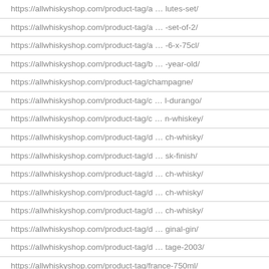https://allwhiskyshop.com/product-tag/a … lutes-set/
https://allwhiskyshop.com/product-tag/a … -set-of-2/
https://allwhiskyshop.com/product-tag/a … -6-x-75cl/
https://allwhiskyshop.com/product-tag/b … -year-old/
https://allwhiskyshop.com/product-tag/champagne/
https://allwhiskyshop.com/product-tag/c … l-durango/
https://allwhiskyshop.com/product-tag/c … n-whiskey/
https://allwhiskyshop.com/product-tag/d … ch-whisky/
https://allwhiskyshop.com/product-tag/d … sk-finish/
https://allwhiskyshop.com/product-tag/d … ch-whisky/
https://allwhiskyshop.com/product-tag/d … ch-whisky/
https://allwhiskyshop.com/product-tag/d … ch-whisky/
https://allwhiskyshop.com/product-tag/d … ginal-gin/
https://allwhiskyshop.com/product-tag/d … tage-2003/
https://allwhiskyshop.com/product-tag/france-750ml/
https://allwhiskyshop.com/product-tag/h … xo-cognac/
https://allwhiskyshop.com/product-tag/h … astle-gin/
https://allwhiskyshop.com/product-tag/j … ch-whisky/
https://allwhiskyshop.com/product-tag/j … ch-whisky/
https://allwhiskyshop.com/product-tag/j … ch-whisky/
https://allwhiskyshop.com/product-tag/j … ch-whisky/